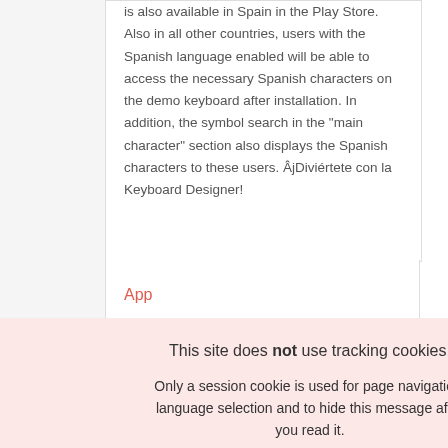is also available in Spain in the Play Store. Also in all other countries, users with the Spanish language enabled will be able to access the necessary Spanish characters on the demo keyboard after installation. In addition, the symbol search in the "main character" section also displays the Spanish characters to these users. ÂjDiviértete con la Keyboard Designer!
App
This site does not use tracking cookies!
Only a session cookie is used for page navigation, language selection and to hide this message after you read it.
OK
SHOW PRIVATE POLICY
Automatic preselection of a key during popup for